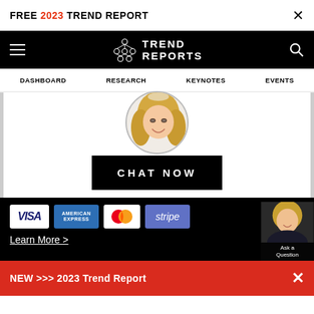FREE 2023 TREND REPORT ×
[Figure (logo): Trend Reports logo with connected circles icon and text TREND REPORTS on black navbar with hamburger menu and search icon]
DASHBOARD   RESEARCH   KEYNOTES   EVENTS
[Figure (photo): Circular profile photo of smiling blonde woman]
[Figure (other): Black CHAT NOW button]
[Figure (other): Payment icons: VISA, American Express, Mastercard, Stripe]
Learn More >
[Figure (photo): Blonde woman headshot in bottom right corner with Ask a Question label]
NEW >>> 2023 Trend Report ×